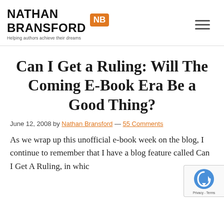NATHAN BRANSFORD — Helping authors achieve their dreams
Can I Get a Ruling: Will The Coming E-Book Era Be a Good Thing?
June 12, 2008 by Nathan Bransford — 55 Comments
As we wrap up this unofficial e-book week on the blog, I continue to remember that I have a blog feature called Can I Get A Ruling, in which you all get to make a ruling on some question...